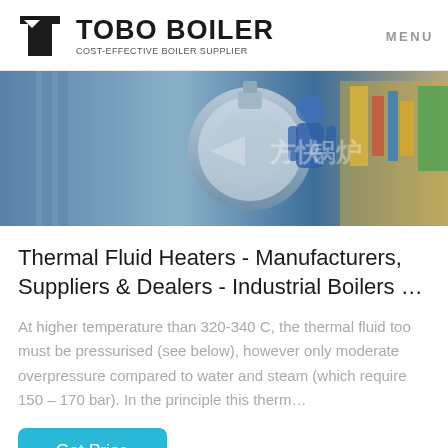TOBO BOILER — COST-EFFECTIVE BOILER SUPPLIER — MENU
[Figure (photo): Industrial boiler facility banner image showing boiler equipment and a worker in blue gear, with Chinese watermark text]
Thermal Fluid Heaters - Manufacturers, Suppliers & Dealers - Industrial Boilers …
At higher temperature than 320-340 C, the thermal fluid too must be pressurised (see below), however only moderate overpressure compared to water and steam (which require 150 – 170 bar). In the principle this therm…
Get Price